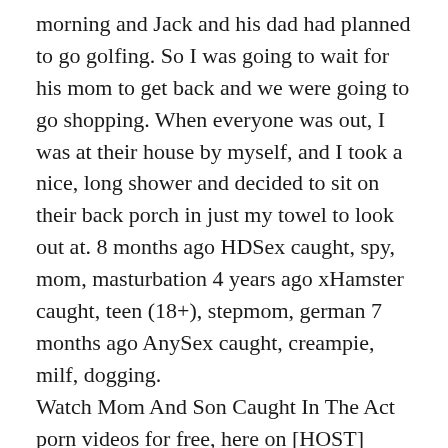morning and Jack and his dad had planned to go golfing. So I was going to wait for his mom to get back and we were going to go shopping. When everyone was out, I was at their house by myself, and I took a nice, long shower and decided to sit on their back porch in just my towel to look out at. 8 months ago HDSex caught, spy, mom, masturbation 4 years ago xHamster caught, teen (18+), stepmom, german 7 months ago AnySex caught, creampie, milf, dogging.
Watch Mom And Son Caught In The Act porn videos for free, here on [HOST] Discover the growing collection of high quality Most Relevant XXX movies and clips. No other sex tube is more popular and features more Mom And Son Caught In The Act scenes than Pornhub! Browse through